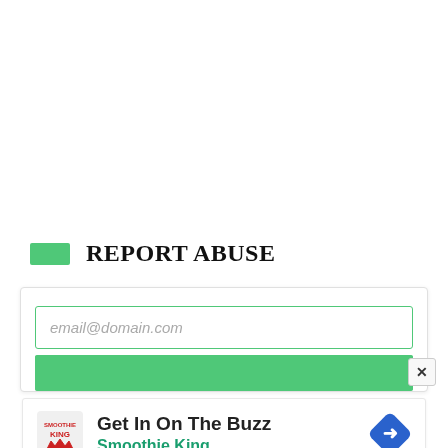REPORT ABUSE
email@domain.com
[Figure (screenshot): Green submit button below email input field]
[Figure (screenshot): Advertisement card: Smoothie King logo, text 'Get In On The Buzz', 'Smoothie King', blue diamond navigation icon]
[Figure (other): Small play and close icons at bottom left of ad card]